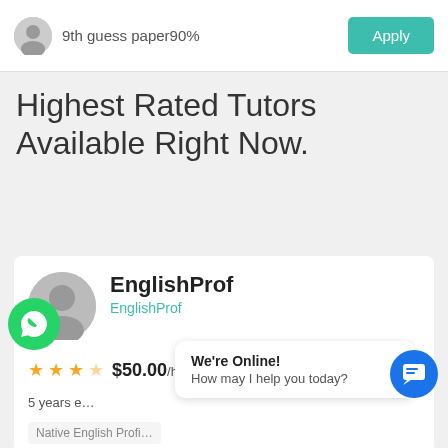9th guess paper90%
Highest Rated Tutors Available Right Now.
EnglishProf
EnglishProf
★★★☆ $50.00/hr
5 years e…
Native English Profi…
We're Online! How may I help you today?